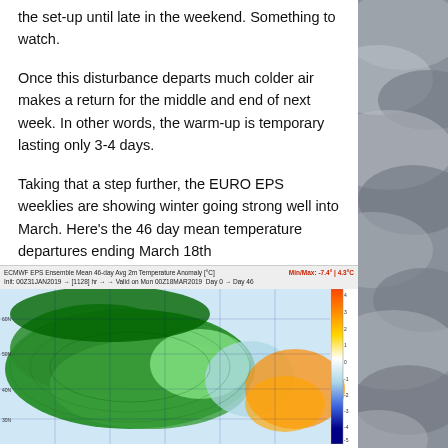the set-up until late in the weekend. Something to watch.
Once this disturbance departs much colder air makes a return for the middle and end of next week. In other words, the warm-up is temporary lasting only 3-4 days.
Taking that a step further, the EURO EPS weeklies are showing winter going strong well into March. Here's the 46 day mean temperature departures ending March 18th
[Figure (map): ECMWF EPS Ensemble Mean 46-day Avg 2m Temperature Anomaly map of North America showing cold (blue/green) anomalies over western/central regions and warm (orange) anomalies over eastern regions. Min/Max: -7.4 / 4.3°C. Valid on Mon 0021BMAR2019, Day 0 to Day 46.]